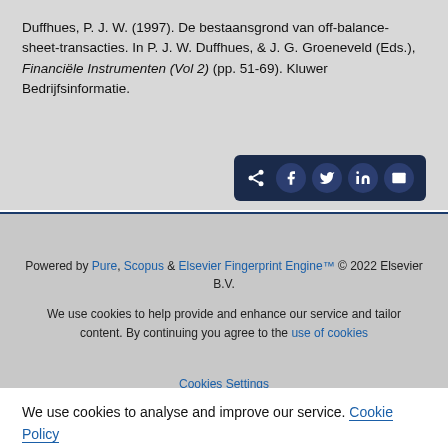Duffhues, P. J. W. (1997). De bestaansgrond van off-balance-sheet-transacties. In P. J. W. Duffhues, & J. G. Groeneveld (Eds.), Financiële Instrumenten (Vol 2) (pp. 51-69). Kluwer Bedrijfsinformatie.
[Figure (other): Social share bar with icons for share, Facebook, Twitter, LinkedIn, and email on dark navy background]
Powered by Pure, Scopus & Elsevier Fingerprint Engine™ © 2022 Elsevier B.V.
We use cookies to help provide and enhance our service and tailor content. By continuing you agree to the use of cookies
Cookies Settings
We use cookies to analyse and improve our service. Cookie Policy